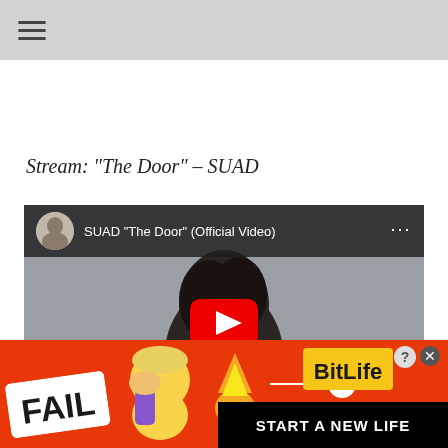hamburger menu icon
Stream: "The Door" – SUAD
[Figure (screenshot): YouTube embedded video player showing SUAD "The Door" (Official Video) with a red play button in the center, thumbnail shows a person from behind in a field]
[Figure (screenshot): Advertisement banner for BitLife mobile game with 'FAIL' text, emoji graphics, 'START A NEW LIFE' text on black bar, close and question mark buttons]